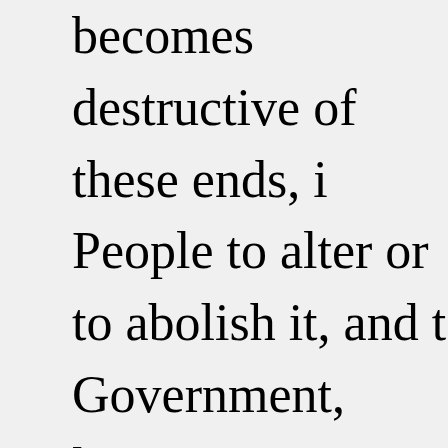becomes destructive of these ends, i People to alter or to abolish it, and t Government, laying its foundation o organizing its powers in such form, most likely to effect their Safety and Prudence, indeed, will dictate that G established should not be changed fo causes; and accordingly all experiem mankind are more disposed to suffe